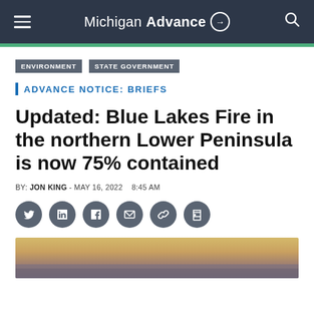Michigan Advance
ENVIRONMENT   STATE GOVERNMENT
ADVANCE NOTICE: BRIEFS
Updated: Blue Lakes Fire in the northern Lower Peninsula is now 75% contained
BY: JON KING - MAY 16, 2022  8:45 AM
[Figure (illustration): Social media sharing icons: Twitter, LinkedIn, Facebook, Email, Link, Print]
[Figure (photo): Partial photograph showing sky and horizon, appears to be fire or smoke related scene]